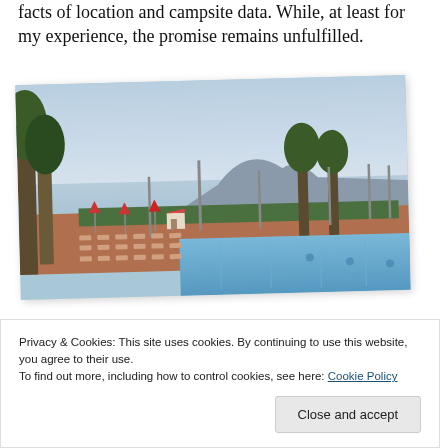facts of location and campsite data. While, at least for my experience, the promise remains unfulfilled.
[Figure (photo): Outdoor swimming pool area with lounge chairs and umbrellas, surrounded by trees and light poles. A rocky mountain/headland visible across a calm bay or sea in the background. Taken at dusk with a hazy sky.]
Privacy & Cookies: This site uses cookies. By continuing to use this website, you agree to their use.
To find out more, including how to control cookies, see here: Cookie Policy
Close and accept